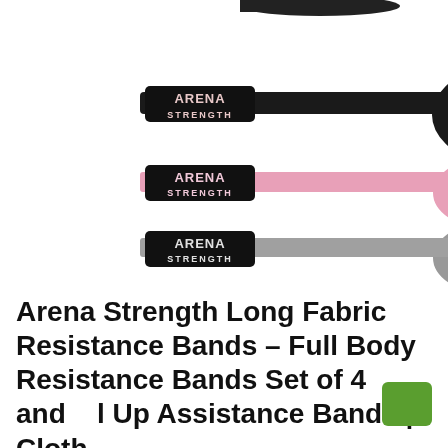[Figure (photo): Three rolled fabric resistance bands stacked: black (top) with Arena Strength label, pink (middle) with Arena Strength label, and gray (bottom) with Arena Strength label. A fourth partially visible black band appears at the very top.]
Arena Strength Long Fabric Resistance Bands - Full Body Resistance Bands Set of 4 and Pull Up Assistance Bands | Cloth